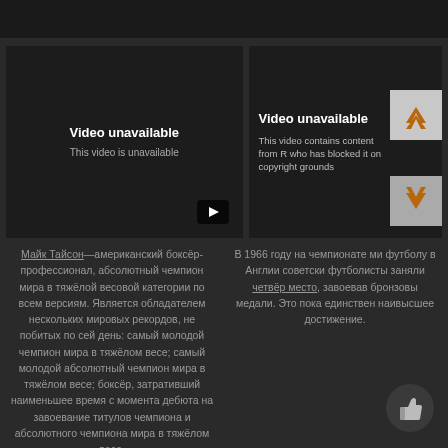[Figure (screenshot): Left video embed showing 'Video unavailable / This video is unavailable' message on dark background with YouTube play button]
[Figure (screenshot): Right video embed showing 'Video unavailable / This video contains content from R who has blocked it on copyright grounds' with navigation arrow buttons overlay]
Майк Тайсон—американский боксёр-профессионал, абсолютный чемпион мира в тяжёлой весовой категории по всем версиям. Является обладателем нескольких мировых рекордов, не побитых по сей день: самый молодой чемпион мира в тяжёлом весе; самый молодой абсолютный чемпион мира в тяжёлом весе; боксёр, затративший наименьшее время с момента дебюта на завоевание титулов чемпиона и абсолютного чемпиона мира в тяжёлом весе.
В 1966 году на чемпионате мира по футболу в Англии советские футболисты заняли четвёртое место, завоевав бронзовые медали. Это пока единственное наивысшее достижение.